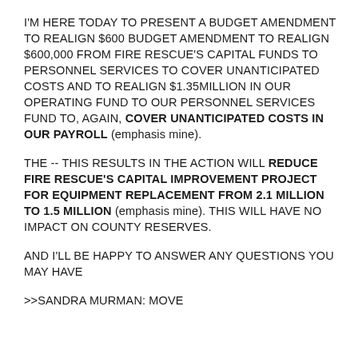I'M HERE TODAY TO PRESENT A BUDGET AMENDMENT TO REALIGN $600 BUDGET AMENDMENT TO REALIGN $600,000 FROM FIRE RESCUE'S CAPITAL FUNDS TO PERSONNEL SERVICES TO COVER UNANTICIPATED COSTS AND TO REALIGN $1.35MILLION IN OUR OPERATING FUND TO OUR PERSONNEL SERVICES FUND TO, AGAIN, COVER UNANTICIPATED COSTS IN OUR PAYROLL (emphasis mine).
THE -- THIS RESULTS IN THE ACTION WILL REDUCE FIRE RESCUE'S CAPITAL IMPROVEMENT PROJECT FOR EQUIPMENT REPLACEMENT FROM 2.1 MILLION TO 1.5 MILLION (emphasis mine). THIS WILL HAVE NO IMPACT ON COUNTY RESERVES.
AND I'LL BE HAPPY TO ANSWER ANY QUESTIONS YOU MAY HAVE
>>SANDRA MURMAN: MOVE